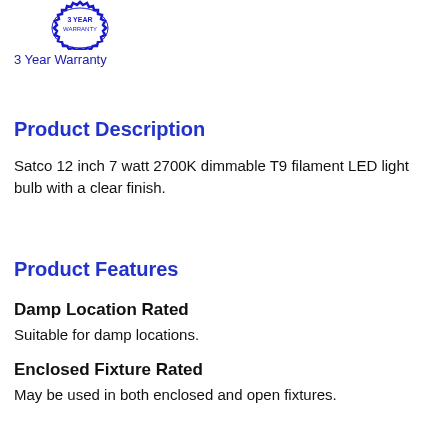[Figure (illustration): 3 Year Warranty badge/seal with blue circular serrated border and text inside]
3 Year Warranty
Product Description
Satco 12 inch 7 watt 2700K dimmable T9 filament LED light bulb with a clear finish.
Product Features
Damp Location Rated
Suitable for damp locations.
Enclosed Fixture Rated
May be used in both enclosed and open fixtures.